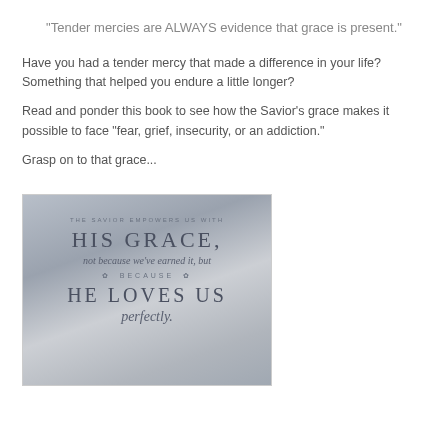"Tender mercies are ALWAYS evidence that grace is present."
Have you had a tender mercy that made a difference in your life? Something that helped you endure a little longer?
Read and ponder this book to see how the Savior's grace makes it possible to face "fear, grief, insecurity, or an addiction."
Grasp on to that grace...
[Figure (illustration): Book cover showing a cloudy sky background with text: 'The Savior Empowers Us With HIS GRACE, not because we've earned it, but BECAUSE HE LOVES US perfectly.']